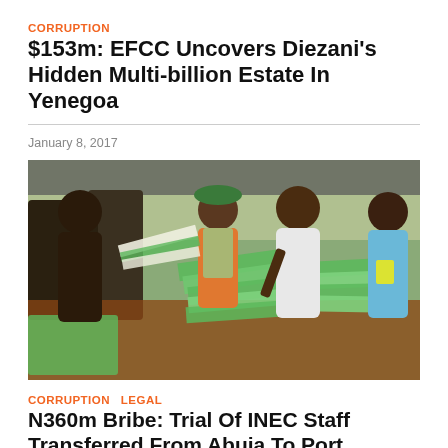CORRUPTION
$153m: EFCC Uncovers Diezani's Hidden Multi-billion Estate In Yenegoa
January 8, 2017
[Figure (photo): People handling green ballot papers and election materials at what appears to be a Nigerian polling station, with INEC officials in green vests sorting through stacks of ballots.]
CORRUPTION   LEGAL
N360m Bribe: Trial Of INEC Staff Transferred From Abuja To Port Harcourt